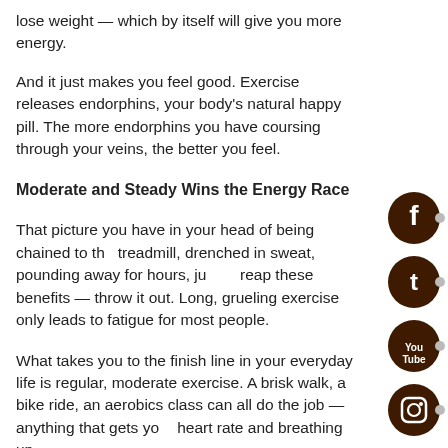lose weight — which by itself will give you more energy.
And it just makes you feel good. Exercise releases endorphins, your body's natural happy pill. The more endorphins you have coursing through your veins, the better you feel.
Moderate and Steady Wins the Energy Race
That picture you have in your head of being chained to the treadmill, drenched in sweat, pounding away for hours, just to reap these benefits — throw it out. Long, grueling exercise only leads to fatigue for most people.
What takes you to the finish line in your everyday life is regular, moderate exercise. A brisk walk, a bike ride, an aerobics class can all do the job — anything that gets your heart rate and breathing up.
Not quite there yet? Low-intensity activities work too. One study showed that regular, low-intensity exercise, such as leisurely walking, helped inactive adults who suffered from fatigue increase their energy by 20 percent and decrease tiredness by 65 percent.
[Figure (infographic): Social media icon buttons on right edge: Facebook, Twitter, YouTube, Instagram, Amazon, and another icon (partially visible), styled as dark brown circles with white logos]